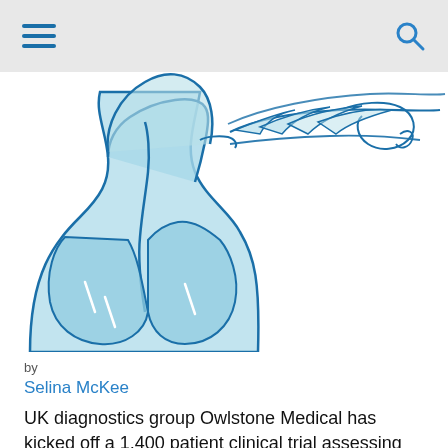[Figure (illustration): Medical illustration showing a side-profile view of human throat/respiratory anatomy with stylized breath exhalation lines, rendered in light blue tones with darker blue outlines.]
by
Selina McKee
UK diagnostics group Owlstone Medical has kicked off a 1,400 patient clinical trial assessing the potential of its FAIMS (Field Asymmetric Ion Mobility Spectrometer)